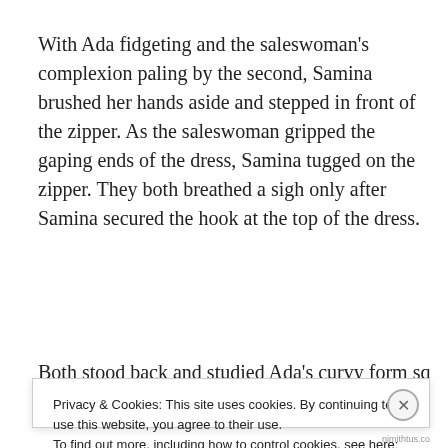With Ada fidgeting and the saleswoman's complexion paling by the second, Samina brushed her hands aside and stepped in front of the zipper. As the saleswoman gripped the gaping ends of the dress, Samina tugged on the zipper. They both breathed a sigh only after Samina secured the hook at the top of the dress.
Both stood back and studied Ada's curvy form squeezed in
Privacy & Cookies: This site uses cookies. By continuing to use this website, you agree to their use.
To find out more, including how to control cookies, see here: Cookie Policy
nimithtus.co